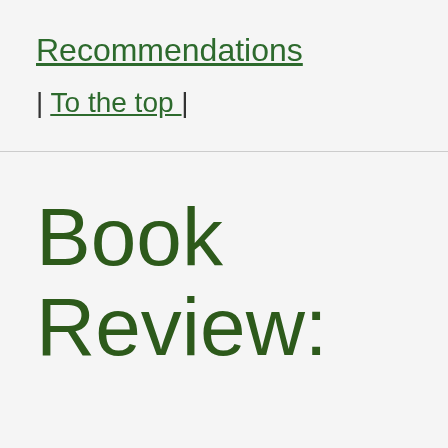Recommendations
| To the top |
Book Review: